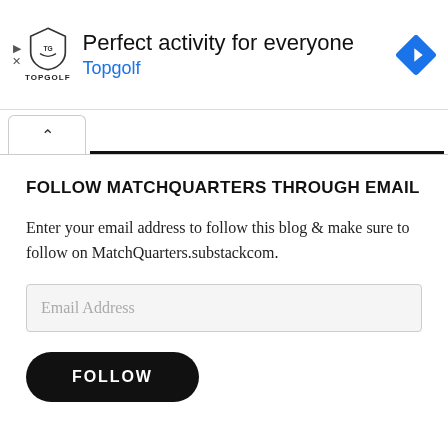[Figure (infographic): Topgolf advertisement banner with shield logo, text 'Perfect activity for everyone', 'Topgolf' link in blue, and a blue navigation arrow diamond icon on the right. Play and X icons on the far left.]
FOLLOW MATCHQUARTERS THROUGH EMAIL
Enter your email address to follow this blog & make sure to follow on MatchQuarters.substackcom.
Email Address
FOLLOW